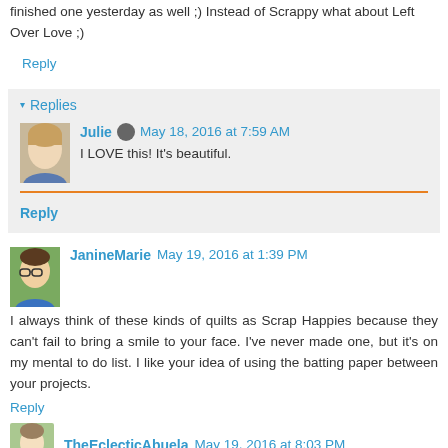finished one yesterday as well ;) Instead of Scrappy what about Left Over Love ;)
Reply
▾ Replies
Julie  May 18, 2016 at 7:59 AM
I LOVE this! It's beautiful.
Reply
JanineMarie  May 19, 2016 at 1:39 PM
I always think of these kinds of quilts as Scrap Happies because they can't fail to bring a smile to your face. I've never made one, but it's on my mental to do list. I like your idea of using the batting paper between your projects.
Reply
TheEclecticAbuela  May 19, 2016 at 8:03 PM